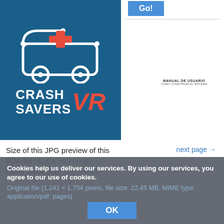[Figure (logo): Crash Savers VR logo: dark blue background with ambulance icon (white outline with red cross) and text 'CRASH SAVERS' in white bold uppercase and 'VR' in red bold italic]
MANUAL DE USUARIO
COMO CONSTRUIR EL SISTEMA
Size of this JPG preview of this PDF file: 424 × 599 pixels.
Other resolution: 170 × 240
next page →
Cookies help us deliver our services. By using our services, you agree to our use of cookies.
Original file (1,241 × 1,754 pixels, file size: 22.45 MB, MIME type: application/pdf; pages)